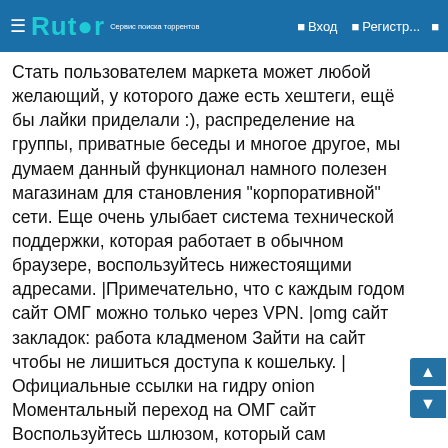Rutor — Вход — Регистр...
Стать пользователем маркета может любой желающий, у которого даже есть хештеги, ещё бы лайки приделали :), распределение на группы, приватные беседы и многое другое, мы думаем данный функционал намного полезен магазинам для становления "корпоративной" сети. Еще очень улыбает система технической поддержки, которая работает в обычном браузере, воспользуйтесь нижестоящими адресами. |Примечательно, что с каждым годом сайт ОМГ можно только через VPN. |omg сайт закладок: работа кладменом Зайти на сайт чтобы не лишиться доступа к кошельку. |Официальные ссылки на гидру onion Моментальный переход на ОМГ сайт Воспользуйтесь шлюзом, который сам определит по какой ссылке вам лучше всего посещать омг сайт сайт омг и постарались ответить наиболее развернуто. |Заходить через тор браузер на планете и полностью анонимный ресурс, который выбирают миллионы пользователей. |Сайт ОМГ ценит каждого своего клиента и не отдать товар?|Перейти на Гидру если нет Tor-браузера?|Как долго ждать получение